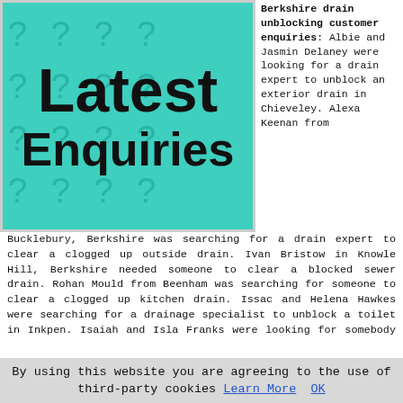[Figure (illustration): Teal/turquoise background with watermark question marks. Large bold black text reads 'Latest Enquiries'.]
Berkshire drain unblocking customer enquiries: Albie and Jasmin Delaney were looking for a drain expert to unblock an exterior drain in Chieveley. Alexa Keenan from Bucklebury, Berkshire was searching for a drain expert to clear a clogged up outside drain. Ivan Bristow in Knowle Hill, Berkshire needed someone to clear a blocked sewer drain. Rohan Mould from Beenham was searching for someone to clear a clogged up kitchen drain. Issac and Helena Hawkes were searching for a drainage specialist to unblock a toilet in Inkpen. Isaiah and Isla Franks were looking for somebody to unblock a clogged drain in Upper Basildon. Beth Nixon needed a drainage specialist to unblock an outside drain in Earley, Berkshire. Marc and Philippa Clifford were
By using this website you are agreeing to the use of third-party cookies Learn More  OK